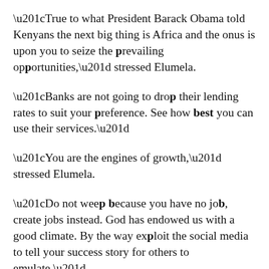“True to what President Barack Obama told Kenyans the next big thing is Africa and the onus is upon you to seize the prevailing opportunities,” stressed Elumela.
“Banks are not going to drop their lending rates to suit your preference. See how best you can use their services.”
“You are the engines of growth,” stressed Elumela.
“Do not weep because you have no job, create jobs instead. God has endowed us with a good climate. By the way exploit the social media to tell your success story for others to emulate.”
Elumelu challenged governments in Africa to